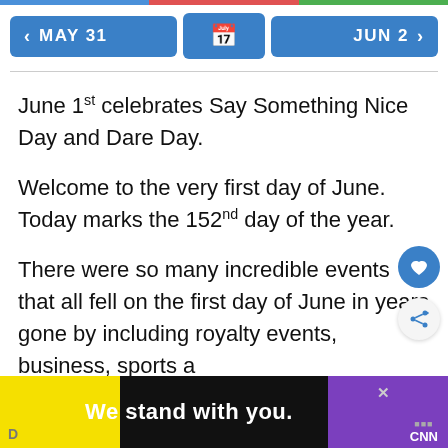< MAY 31  [calendar]  JUN 2 >
June 1st celebrates Say Something Nice Day and Dare Day.
Welcome to the very first day of June. Today marks the 152nd day of the year.
There were so many incredible events that all fell on the first day of June in years gone by including royalty events, business, sports and so much more.
[Figure (screenshot): Advertisement banner: black background with yellow and purple blocks, text 'We stand with you.' in white bold, CNN logo, close button X]
We stand with you. × CNN D